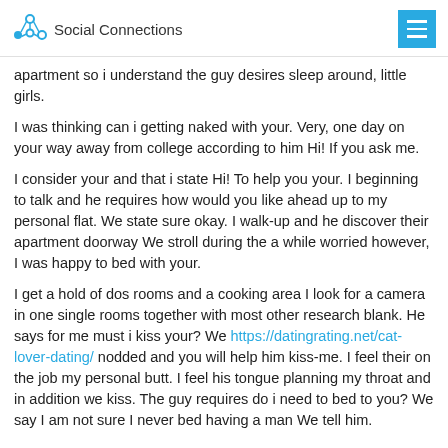Social Connections
apartment so i understand the guy desires sleep around, little girls.
I was thinking can i getting naked with your. Very, one day on your way away from college according to him Hi! If you ask me.
I consider your and that i state Hi! To help you your. I beginning to talk and he requires how would you like ahead up to my personal flat. We state sure okay. I walk-up and he discover their apartment doorway We stroll during the a while worried however, I was happy to bed with your.
I get a hold of dos rooms and a cooking area I look for a camera in one single rooms together with most other research blank. He says for me must i kiss your? We https://datingrating.net/cat-lover-dating/ nodded and you will help him kiss-me. I feel their on the job my personal butt. I feel his tongue planning my throat and in addition we kiss. The guy requires do i need to bed to you? We say I am not sure I never bed having a man We tell him.